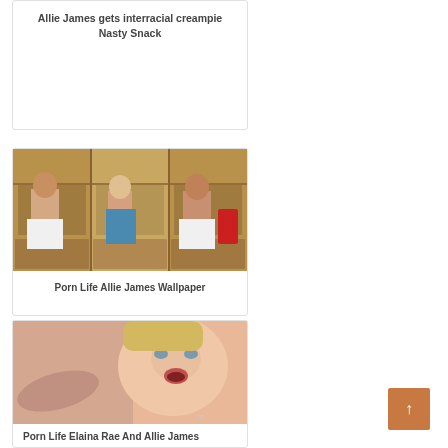Allie James gets interracial creampie
Nasty Snack
[Figure (photo): Two shirtless men in white towels with a blonde woman in a locker room]
Porn Life Allie James Wallpaper
[Figure (photo): Close-up of a blonde woman with mouth open]
Porn Life Elaina Rae And Allie James